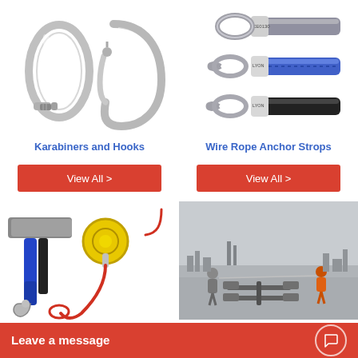[Figure (photo): Two carabiners and hooks - a screw gate oval karabiner and a large auto-locking hook karabiner, shown on white background]
[Figure (photo): Three wire rope anchor strops with looped ends and crimped ferrules, one grey rope, one blue sheathed, one black sheathed]
Karabiners and Hooks
Wire Rope Anchor Strops
View All >
View All >
[Figure (photo): Blue webbing beam anchor strap with metal hook, and yellow ring anchor with red lanyard]
[Figure (photo): Workers in safety harnesses on a rooftop with a cable anchor line system installed]
Leave a message